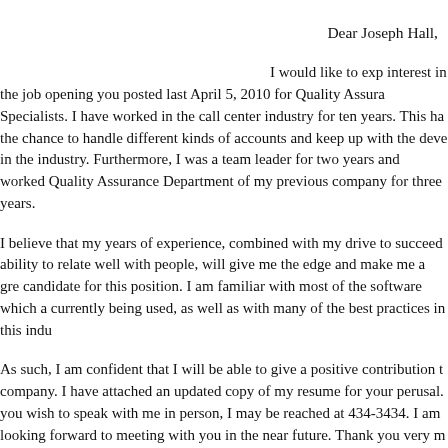Dear Joseph Hall,
I would like to express my interest in the job opening you posted last April 5, 2010 for Quality Assurance Specialists. I have worked in the call center industry for ten years. This has given me the chance to handle different kinds of accounts and keep up with the developments in the industry. Furthermore, I was a team leader for two years and worked in the Quality Assurance Department of my previous company for three years.
I believe that my years of experience, combined with my drive to succeed and my ability to relate well with people, will give me the edge and make me a great candidate for this position. I am familiar with most of the software which are currently being used, as well as with many of the best practices in this industry.
As such, I am confident that I will be able to give a positive contribution to your company. I have attached an updated copy of my resume for your perusal. Should you wish to speak with me in person, I may be reached at 434-3434. I am looking forward to meeting with you in the near future. Thank you very much for your time.